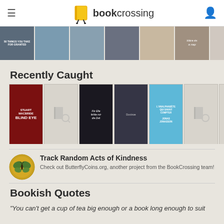[Figure (screenshot): BookCrossing website mobile navigation bar with hamburger menu, logo, and user icon]
[Figure (screenshot): Horizontal scrollable strip of book cover thumbnails (recently released)]
Recently Caught
[Figure (screenshot): Horizontal strip of Recently Caught book covers including Stuart MacBride Blind Eye, Für Elle fehlte mir die Zeit, L'analphabète qui savait compter by Jonas Jonasson, and placeholder covers]
Track Random Acts of Kindness
Check out ButterflyCoins.org, another project from the BookCrossing team!
Bookish Quotes
"You can't get a cup of tea big enough or a book long enough to suit